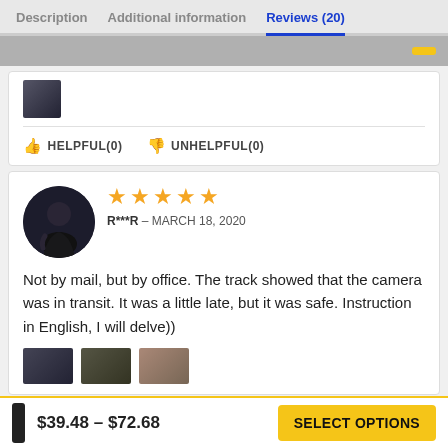Description | Additional information | Reviews (20)
HELPFUL(0)   UNHELPFUL(0)
★★★★★
R***R – MARCH 18, 2020
Not by mail, but by office. The track showed that the camera was in transit. It was a little late, but it was safe. Instruction in English, I will delve))
$39.48 – $72.68
SELECT OPTIONS